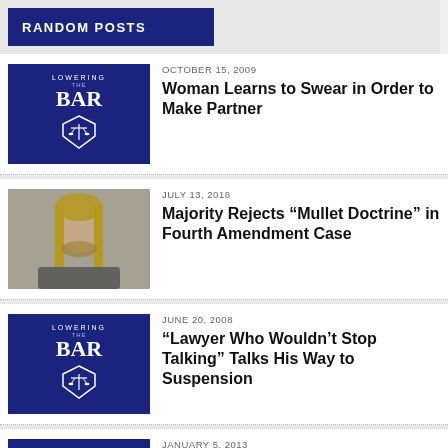RANDOM POSTS
[Figure (logo): Lowering the Bar logo — dark blue background with scales of justice shield]
OCTOBER 15, 2009
Woman Learns to Swear in Order to Make Partner
[Figure (photo): Man with mullet hairstyle, photo used for Mullet Doctrine article]
JULY 13, 2018
Majority Rejects “Mullet Doctrine” in Fourth Amendment Case
[Figure (logo): Lowering the Bar logo — dark blue background with scales of justice shield]
JUNE 20, 2008
“Lawyer Who Wouldn’t Stop Talking” Talks His Way to Suspension
[Figure (logo): Lowering the Bar logo — dark blue background with scales of justice shield]
JANUARY 5, 2013
One-Armed Man Arrested for Clapping